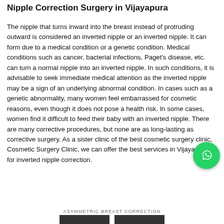Nipple Correction Surgery in Vijayapura
The nipple that turns inward into the breast instead of protruding outward is considered an inverted nipple or an inverted nipple. It can form due to a medical condition or a genetic condition. Medical conditions such as cancer, bacterial infections, Paget's disease, etc. can turn a normal nipple into an inverted nipple. In such conditions, it is advisable to seek immediate medical attention as the inverted nipple may be a sign of an underlying abnormal condition. In cases such as a genetic abnormality, many women feel embarrassed for cosmetic reasons, even though it does not pose a health risk. In some cases, women find it difficult to feed their baby with an inverted nipple. There are many corrective procedures, but none are as long-lasting as corrective surgery. As a sister clinic of the best cosmetic surgery clinic, Cosmetic Surgery Clinic, we can offer the best services in Vijayapura for inverted nipple correction.
ASYMMETRIC BREAST CORRECTION
[Figure (photo): Two before/after photo thumbnails partially visible at the bottom of the page]